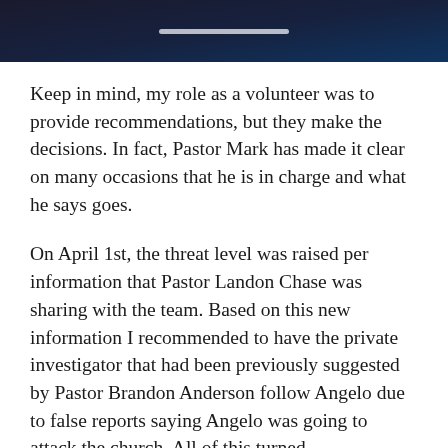[Figure (screenshot): Dark blue gradient header image with a white scroll indicator bar centered near the bottom]
Keep in mind, my role as a volunteer was to provide recommendations, but they make the decisions. In fact, Pastor Mark has made it clear on many occasions that he is in charge and what he says goes.
On April 1st, the threat level was raised per information that Pastor Landon Chase was sharing with the team. Based on this new information I recommended to have the private investigator that had been previously suggested by Pastor Brandon Anderson follow Angelo due to false reports saying Angelo was going to attack the church. All of this turned